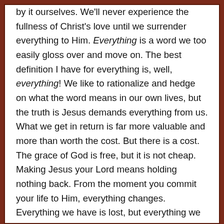by it ourselves. We'll never experience the fullness of Christ's love until we surrender everything to Him. Everything is a word we too easily gloss over and move on. The best definition I have for everything is, well, everything! We like to rationalize and hedge on what the word means in our own lives, but the truth is Jesus demands everything from us. What we get in return is far more valuable and more than worth the cost. But there is a cost. The grace of God is free, but it is not cheap. Making Jesus your Lord means holding nothing back. From the moment you commit your life to Him, everything changes. Everything we have is lost, but everything we could ever hope to find will be found in Him.